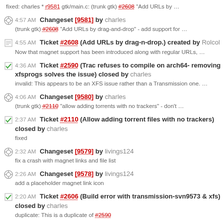4:57 AM Changeset [9581] by charles (trunk gtk) #2608 "Add URLs by drag-and-drop" - add support for ...
fixed: charles * r9581 gtk/main.c: (trunk gtk) #2608 "Add URLs by ...
4:55 AM Ticket #2608 (Add URLs by drag-n-drop.) created by Rolcol Now that magnet support has been introduced along with regular URLs, ...
4:36 AM Ticket #2590 (Trac refuses to compile on arch64- removing xfsprogs solves the issue) closed by charles invalid: This appears to be an XFS issue rather than a Transmission one. ...
4:06 AM Changeset [9580] by charles (trunk gtk) #2110 "allow adding torrents with no trackers" - don't ...
2:37 AM Ticket #2110 (Allow adding torrent files with no trackers) closed by charles fixed
2:32 AM Changeset [9579] by livings124 fix a crash with magnet links and file list
2:26 AM Changeset [9578] by livings124 add a placeholder magnet link icon
2:20 AM Ticket #2606 (Build error with transmission-svn9573 & xfs) closed by charles duplicate: This is a duplicate of #2590
2:11 AM Changeset [9577] by livings124 some more tweaks for magnet links